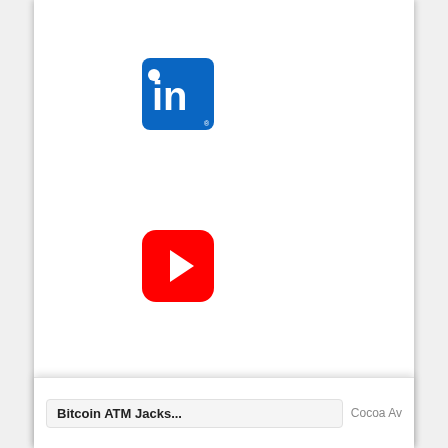[Figure (logo): LinkedIn logo — blue rounded square with white 'in' text]
[Figure (logo): YouTube logo — red rounded square with white play button]
[Figure (logo): Twitter logo — blue rounded square with white bird icon]
[Figure (screenshot): Bottom card showing partial map UI with text 'Bitcoin ATM Jacks...' on the left and 'Cocoa Av' on the right]